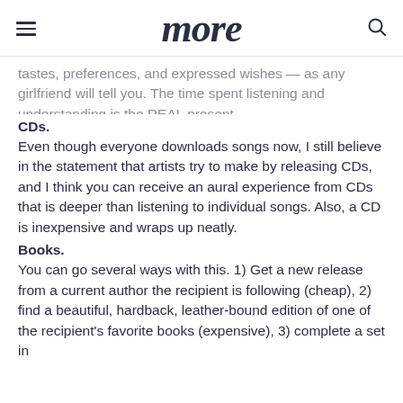more
tastes, preferences, and expressed wishes — as any girlfriend will tell you. The time spent listening and understanding is the REAL present.
CDs.
Even though everyone downloads songs now, I still believe in the statement that artists try to make by releasing CDs, and I think you can receive an aural experience from CDs that is deeper than listening to individual songs. Also, a CD is inexpensive and wraps up neatly.
Books.
You can go several ways with this. 1) Get a new release from a current author the recipient is following (cheap), 2) find a beautiful, hardback, leather-bound edition of one of the recipient's favorite books (expensive), 3) complete a set in